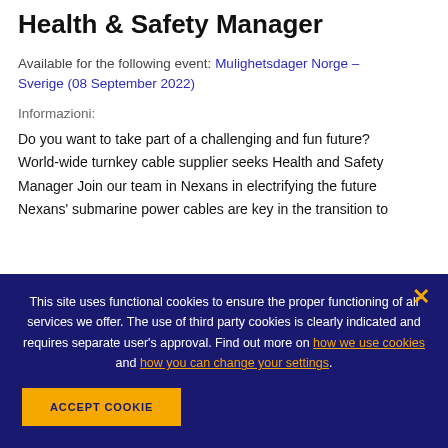Health & Safety Manager
Available for the following event: Mulighetsdager Norge – Sverige (08 September 2022)
Informazioni:
Do you want to take part of a challenging and fun future? World-wide turnkey cable supplier seeks Health and Safety Manager Join our team in Nexans in electrifying the future Nexans' submarine power cables are key in the transition to
This site uses functional cookies to ensure the proper functioning of all services we offer. The use of third party cookies is clearly indicated and requires separate user's approval. Find out more on how we use cookies and how you can change your settings.
ACCEPT COOKIE